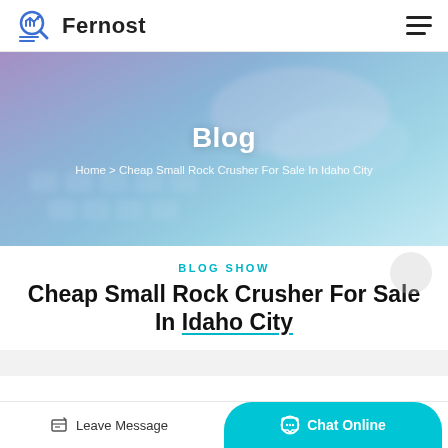Fernost
[Figure (screenshot): Hero banner with blurred keyboard and hands background, purple-blue gradient overlay, white centered text 'Blog' and breadcrumb navigation]
Blog
Home > Cheap Small Rock Crusher For Sale In Idaho City
BLOG SHOW
Cheap Small Rock Crusher For Sale In Idaho City
Leave Message
Chat Online